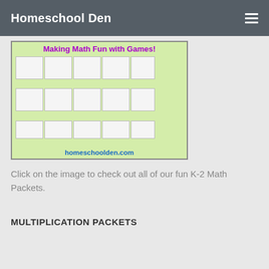Homeschool Den
[Figure (screenshot): Screenshot of a Homeschool Den math packet image showing 'Making Math Fun with Games!' in purple text with worksheets and a dragon theme, and homeschoolden.com at the bottom.]
Click on the image to check out all of our fun K-2 Math Packets.
MULTIPLICATION PACKETS